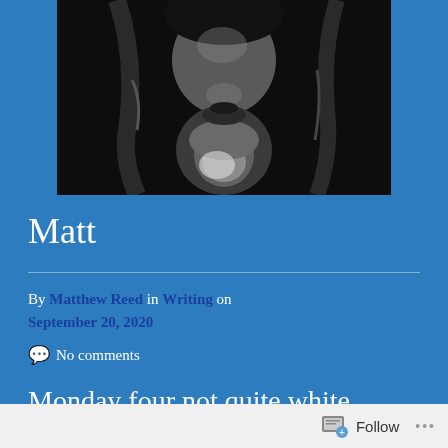[Figure (photo): Black and white portrait photo of a bearded man, shown from chin to forehead area, cropped closely]
Matt
By Matthew Reed in Writing on September 20, 2020
No comments
Monday four not quite white
Follow ...